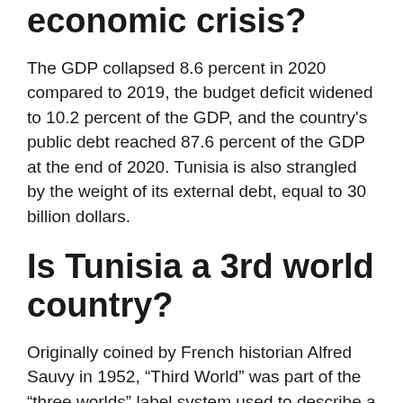economic crisis?
The GDP collapsed 8.6 percent in 2020 compared to 2019, the budget deficit widened to 10.2 percent of the GDP, and the country's public debt reached 87.6 percent of the GDP at the end of 2020. Tunisia is also strangled by the weight of its external debt, equal to 30 billion dollars.
Is Tunisia a 3rd world country?
Originally coined by French historian Alfred Sauvy in 1952, “Third World” was part of the “three worlds” label system used to describe a country’s political alliances.
…